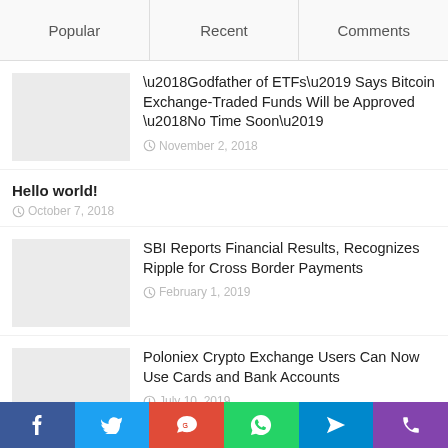Popular
Recent
Comments
‘Godfather of ETFs’ Says Bitcoin Exchange-Traded Funds Will be Approved ‘No Time Soon’
November 2, 2018
Hello world!
October 7, 2018
SBI Reports Financial Results, Recognizes Ripple for Cross Border Payments
February 1, 2019
Poloniex Crypto Exchange Users Can Now Use Cards and Bank Accounts
July 10, 2019